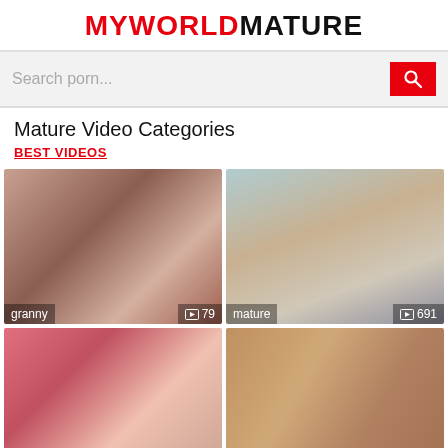MYWORLDMATURE
Search porn...
Mature Video Categories
BEST VIDEOS
[Figure (photo): Thumbnail image for granny category, 79 videos]
[Figure (photo): Thumbnail image for mature category, 691 videos]
[Figure (photo): Thumbnail image, partial view]
[Figure (photo): Thumbnail image, partial view]